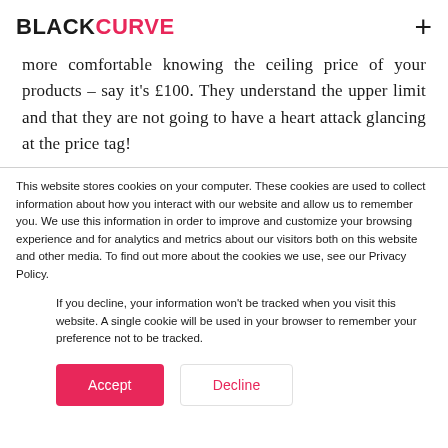BLACKCURVE
more comfortable knowing the ceiling price of your products – say it's £100. They understand the upper limit and that they are not going to have a heart attack glancing at the price tag!
This website stores cookies on your computer. These cookies are used to collect information about how you interact with our website and allow us to remember you. We use this information in order to improve and customize your browsing experience and for analytics and metrics about our visitors both on this website and other media. To find out more about the cookies we use, see our Privacy Policy.
If you decline, your information won't be tracked when you visit this website. A single cookie will be used in your browser to remember your preference not to be tracked.